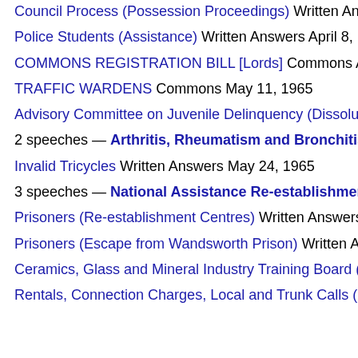Council Process (Possession Proceedings) Written Answers Ap...
Police Students (Assistance) Written Answers April 8, 1965
COMMONS REGISTRATION BILL [Lords] Commons April 28,
TRAFFIC WARDENS Commons May 11, 1965
Advisory Committee on Juvenile Delinquency (Dissolution) Wr...
2 speeches — Arthritis, Rheumatism and Bronchitis Comm...
Invalid Tricycles Written Answers May 24, 1965
3 speeches — National Assistance Re-establishment Centr...
Prisoners (Re-establishment Centres) Written Answers July 9,
Prisoners (Escape from Wandsworth Prison) Written Answers
Ceramics, Glass and Mineral Industry Training Board (Membe...
Rentals, Connection Charges, Local and Trunk Calls (Increase...